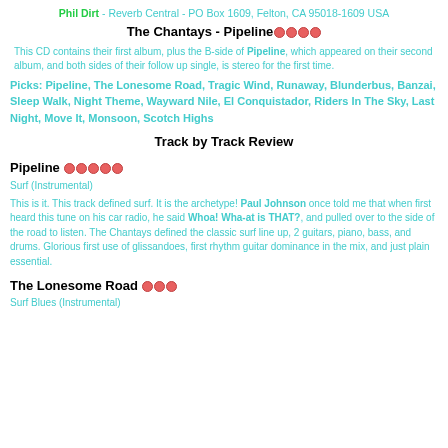Phil Dirt - Reverb Central - PO Box 1609, Felton, CA 95018-1609 USA
The Chantays - Pipeline [rating: 4 dots]
This CD contains their first album, plus the B-side of Pipeline, which appeared on their second album, and both sides of their follow up single, is stereo for the first time.
Picks: Pipeline, The Lonesome Road, Tragic Wind, Runaway, Blunderbus, Banzai, Sleep Walk, Night Theme, Wayward Nile, El Conquistador, Riders In The Sky, Last Night, Move It, Monsoon, Scotch Highs
Track by Track Review
Pipeline [rating: 5 dots]
Surf (Instrumental)
This is it. This track defined surf. It is the archetype! Paul Johnson once told me that when first heard this tune on his car radio, he said Whoa! Wha-at is THAT?, and pulled over to the side of the road to listen. The Chantays defined the classic surf line up, 2 guitars, piano, bass, and drums. Glorious first use of glissandoes, first rhythm guitar dominance in the mix, and just plain essential.
The Lonesome Road [rating: 3 dots]
Surf Blues (Instrumental)